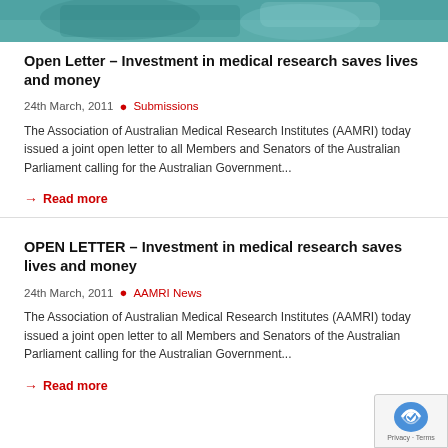[Figure (photo): Top cropped photo strip showing medical/healthcare scene with teal/green tones]
Open Letter – Investment in medical research saves lives and money
24th March, 2011  •  Submissions
The Association of Australian Medical Research Institutes (AAMRI) today issued a joint open letter to all Members and Senators of the Australian Parliament calling for the Australian Government...
→ Read more
OPEN LETTER – Investment in medical research saves lives and money
24th March, 2011  •  AAMRI News
The Association of Australian Medical Research Institutes (AAMRI) today issued a joint open letter to all Members and Senators of the Australian Parliament calling for the Australian Government...
→ Read more